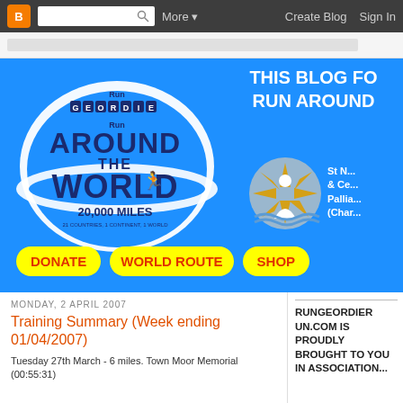[Figure (screenshot): Blogger top navigation bar with logo, search box, More dropdown, Create Blog and Sign In links]
[Figure (illustration): Run Geordie Run Around the World 20,000 Miles banner in blue with logo, charity logo, DONATE, WORLD ROUTE, SHOP buttons, and text THIS BLOG FO... RUN AROUND...]
MONDAY, 2 APRIL 2007
Training Summary (Week ending 01/04/2007)
Tuesday 27th March - 6 miles. Town Moor Memorial (00:55:31)
RUNGEORDIER UN.COM IS PROUDLY BROUGHT TO YOU IN ASSOCIATION...